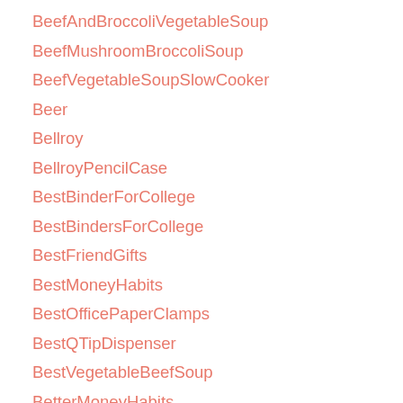BeefAndBroccoliVegetableSoup
BeefMushroomBroccoliSoup
BeefVegetableSoupSlowCooker
Beer
Bellroy
BellroyPencilCase
BestBinderForCollege
BestBindersForCollege
BestFriendGifts
BestMoneyHabits
BestOfficePaperClamps
BestQTipDispenser
BestVegetableBeefSoup
BetterMoneyHabits
bibliophile